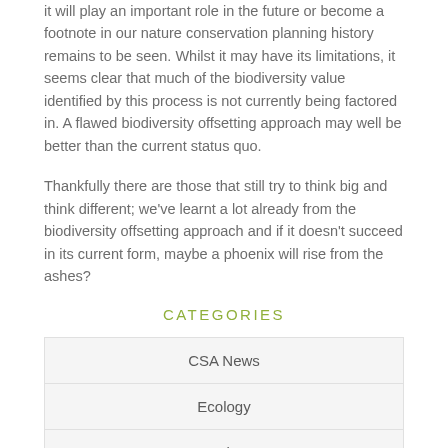it will play an important role in the future or become a footnote in our nature conservation planning history remains to be seen. Whilst it may have its limitations, it seems clear that much of the biodiversity value identified by this process is not currently being factored in. A flawed biodiversity offsetting approach may well be better than the current status quo.
Thankfully there are those that still try to think big and think different; we've learnt a lot already from the biodiversity offsetting approach and if it doesn't succeed in its current form, maybe a phoenix will rise from the ashes?
CATEGORIES
CSA News
Ecology
General News
Heritage